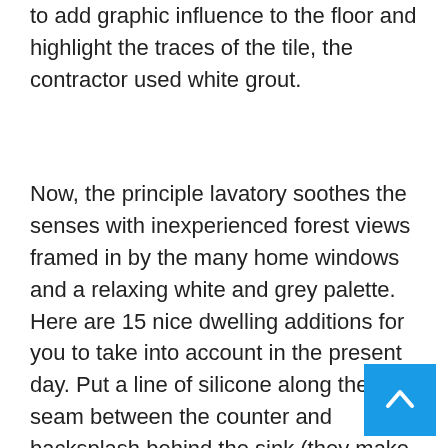to add graphic influence to the floor and highlight the traces of the tile, the contractor used white grout.
Now, the principle lavatory soothes the senses with inexperienced forest views framed in by the many home windows and a relaxing white and grey palette. Here are 15 nice dwelling additions for you to take into account in the present day. Put a line of silicone along the seam between the counter and backsplash behind the sink (they make it to match grout colors), to prevent water from darkening your grout.
You're keen on your home and we will help you take pleasure in it more with our room addition design and constructing services in Northern VA, MD, and DC. Whether or not you wish to add a new visitor